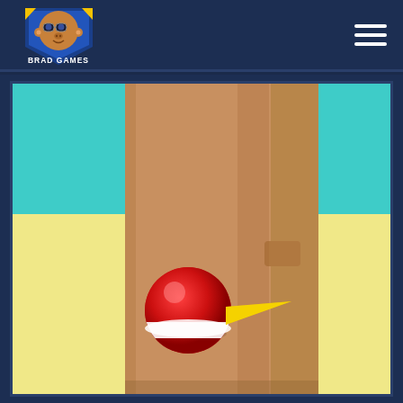[Figure (logo): Brad Games logo — cartoon monkey character wearing goggles and a helmet with a blue/yellow badge, text 'BRAD GAMES' below]
[Figure (screenshot): 3D mobile game screenshot showing a red bowling-ball-like sphere with a yellow spike/pin approaching a large brown cardboard-box door with a handle, set in a room with teal upper walls and yellow lower floor]